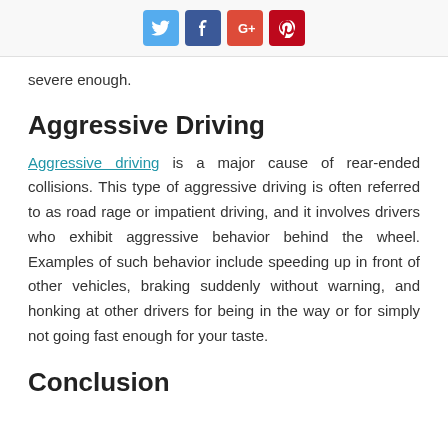[Social share buttons: Twitter, Facebook, Google+, Pinterest]
severe enough.
Aggressive Driving
Aggressive driving is a major cause of rear-ended collisions. This type of aggressive driving is often referred to as road rage or impatient driving, and it involves drivers who exhibit aggressive behavior behind the wheel. Examples of such behavior include speeding up in front of other vehicles, braking suddenly without warning, and honking at other drivers for being in the way or for simply not going fast enough for your taste.
Conclusion